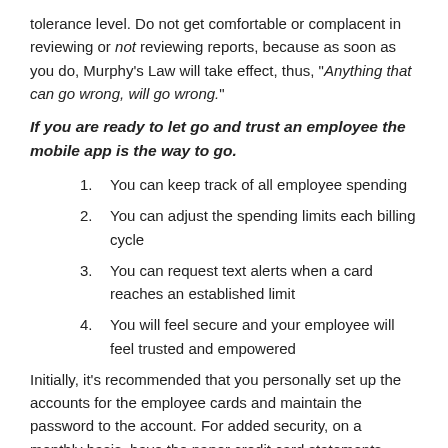tolerance level. Do not get comfortable or complacent in reviewing or not reviewing reports, because as soon as you do, Murphy’s Law will take effect, thus, “Anything that can go wrong, will go wrong.”
If you are ready to let go and trust an employee the mobile app is the way to go.
You can keep track of all employee spending
You can adjust the spending limits each billing cycle
You can request text alerts when a card reaches an established limit
You will feel secure and your employee will feel trusted and empowered
Initially, it’s recommended that you personally set up the accounts for the employee cards and maintain the password to the account. For added security, on a monthly basis, have the paper credit card statements delivered to you unopened, or emailed to you if electronic options are available, as you may do with your own bank statements. Send a routine review in